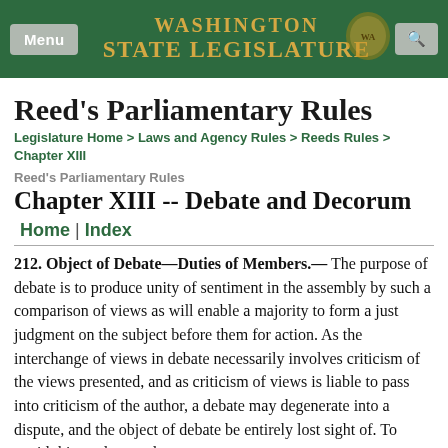Washington State Legislature
Reed's Parliamentary Rules
Legislature Home > Laws and Agency Rules > Reeds Rules > Chapter XIII
Reed's Parliamentary Rules
Chapter XIII -- Debate and Decorum
Home | Index
212. Object of Debate—Duties of Members.— The purpose of debate is to produce unity of sentiment in the assembly by such a comparison of views as will enable a majority to form a just judgment on the subject before them for action. As the interchange of views in debate necessarily involves criticism of the views presented, and as criticism of views is liable to pass into criticism of the author, a debate may degenerate into a dispute, and the object of debate be entirely lost sight of. To avoid this, and to render discussion as productive as possible, the assembly must